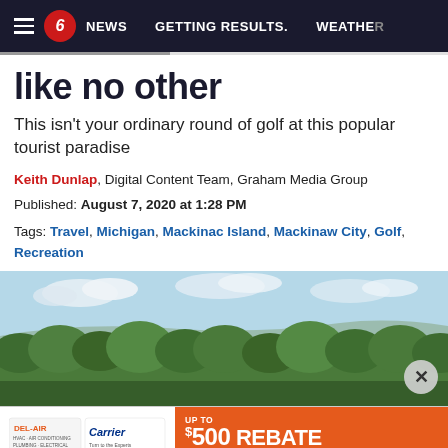NEWS   GETTING RESULTS.   WEATHER
like no other
This isn't your ordinary round of golf at this popular tourist paradise
Keith Dunlap, Digital Content Team, Graham Media Group
Published: August 7, 2020 at 1:28 PM
Tags: Travel, Michigan, Mackinac Island, Mackinaw City, Golf, Recreation
[Figure (photo): Scenic landscape photo showing green trees in the foreground and a lake or water body with land in the background under a partly cloudy sky]
[Figure (other): Advertisement banner for DEL-AIR featuring Carrier branding and text 'UP TO $500 REBATE QUALIFYING SYSTEM']